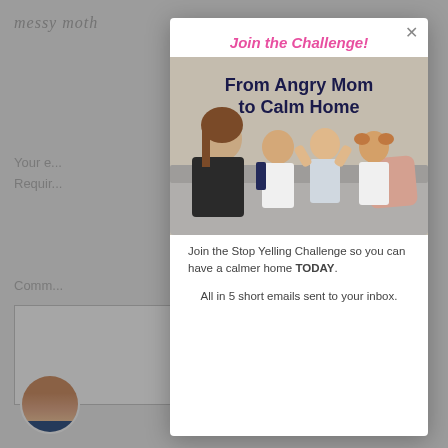[Figure (screenshot): Background webpage showing 'messy moth' logo, form fields (Your email, Required, Comments), textarea, and avatar photo of a woman.]
Join the Challenge!
[Figure (photo): Photo of a mother with three young children sitting on a couch. The mother holds a finger to her lips. The children are making playful faces. White brick wall in background.]
From Angry Mom to Calm Home
Join the Stop Yelling Challenge so you can have a calmer home TODAY.
All in 5 short emails sent to your inbox.